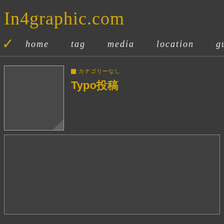In4graphic.com
home  tag  media  location  guest
[Figure (screenshot): Thumbnail image placeholder with dark background and folded corner]
■カテゴリーなし
Typo投稿